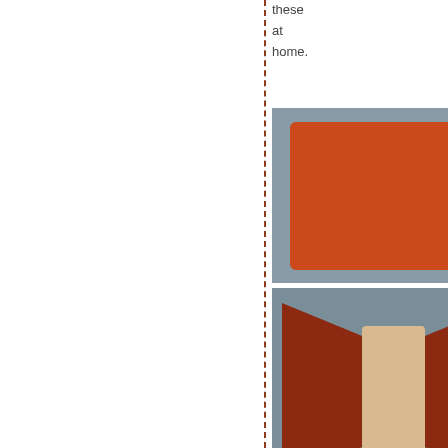these at home.
[Figure (photo): Two photos of orange/red cardstock paper: top image shows a flat orange rectangle; bottom image shows the paper folded open like a tent or card with a lighter interior.]
For lunch we headed up the street to Cafe Rio. where we tried to determine if